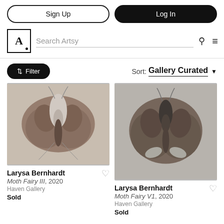Sign Up | Log In
[Figure (screenshot): Artsy logo - letter A in a bordered square]
Search Artsy
Filter | Sort: Gallery Curated
[Figure (photo): Photograph of a brown moth with outstretched wings on a light background]
Larysa Bernhardt
Moth Fairy III, 2020
Haven Gallery
Sold
[Figure (photo): Photograph of a dark brown moth with outstretched wings on a grayish background]
Larysa Bernhardt
Moth Fairy V1, 2020
Haven Gallery
Sold